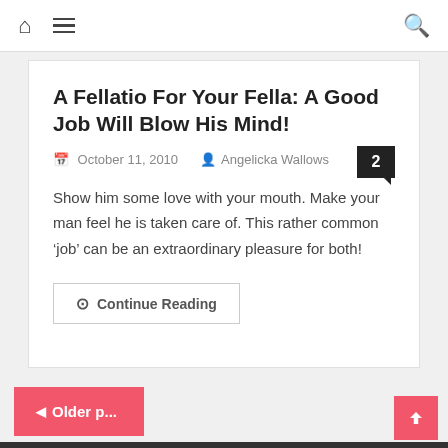Navigation bar with home icon, menu icon, and search icon
A Fellatio For Your Fella: A Good Job Will Blow His Mind!
October 11, 2010  Angelicka Wallows  2
Show him some love with your mouth. Make your man feel he is taken care of. This rather common ‘job’ can be an extraordinary pleasure for both!
Continue Reading
◄ Older p...